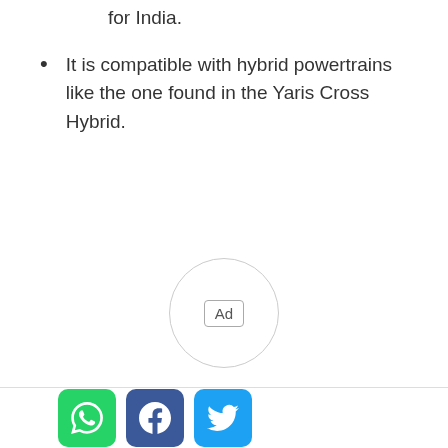for India.
It is compatible with hybrid powertrains like the one found in the Yaris Cross Hybrid.
[Figure (other): Advertisement placeholder circle with 'Ad' label inside a rounded rectangle, centered on the page]
[Figure (other): Social sharing icons bar: WhatsApp (green), Facebook (dark blue), Twitter (light blue)]